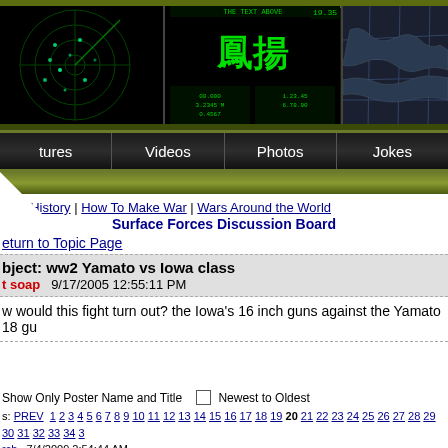[Figure (screenshot): Military website header banner with radar screen on left (green radar display), center digital readout display, and right map/chart display against dark background]
tures | Videos | Photos | Jokes
itary History | How To Make War | Wars Around the World
Surface Forces Discussion Board
eturn to Topic Page
bject: ww2 Yamato vs Iowa class
t soap   9/17/2005 12:55:11 PM
w would this fight turn out? the Iowa's 16 inch guns against the Yamato 18 gu
Show Only Poster Name and Title  ☐ Newest to Oldest
s: PREV  1 2 3 4 5 6 7 8 9 10 11 12 13 14 15 16 17 18 19 20 21 22 23 24 25 26 27 28 29 30 31 32 33 34 3
rch   7/4/2009 2:54:44 AM